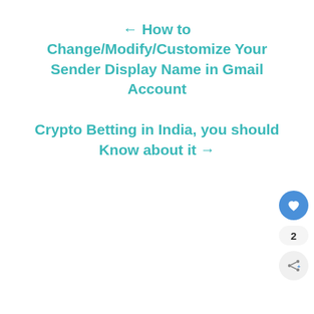← How to Change/Modify/Customize Your Sender Display Name in Gmail Account
Crypto Betting in India, you should Know about it →